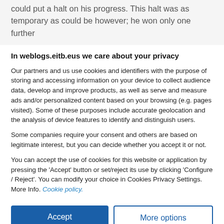could put a halt on his progress. This halt was as temporary as could be however; he won only one further
In weblogs.eitb.eus we care about your privacy
Our partners and us use cookies and identifiers with the purpose of storing and accessing information on your device to collect audience data, develop and improve products, as well as serve and measure ads and/or personalized content based on your browsing (e.g. pages visited). Some of these purposes include accurate geolocation and the analysis of device features to identify and distinguish users.
Some companies require your consent and others are based on legitimate interest, but you can decide whether you accept it or not.
You can accept the use of cookies for this website or application by pressing the 'Accept' button or set/reject its use by clicking 'Configure / Reject'. You can modify your choice in Cookies Privacy Settings. More Info. Cookie policy.
Accept
More options
See list of partners
Sibbo
ver 125.38